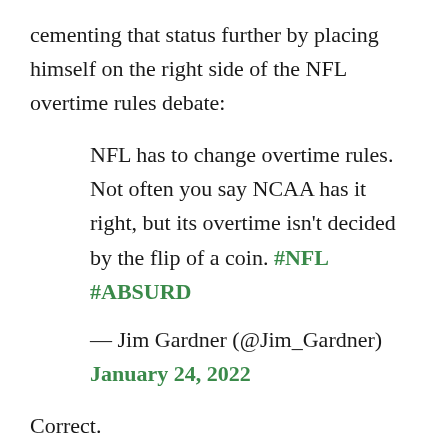cementing that status further by placing himself on the right side of the NFL overtime rules debate:
NFL has to change overtime rules. Not often you say NCAA has it right, but its overtime isn't decided by the flip of a coin. #NFL #ABSURD
— Jim Gardner (@Jim_Gardner) January 24, 2022
Correct.
We had this argument three years ago. Remember when the Patriots beat the Chiefs and Patrick Mahomes didn't